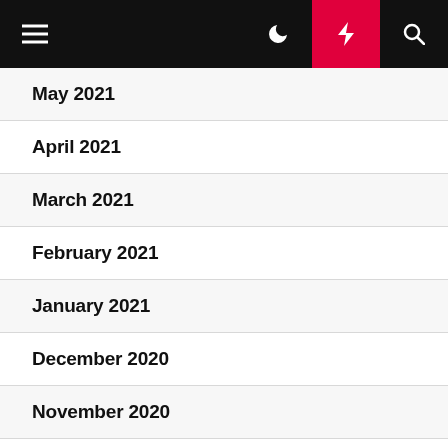Navigation header with hamburger menu, moon icon, lightning bolt icon, and search icon
May 2021
April 2021
March 2021
February 2021
January 2021
December 2020
November 2020
October 2020
November 2018